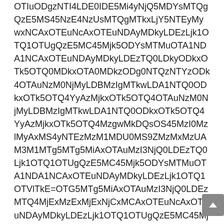OTIuODgzNTI4LDE0IDE5Mi4yNjQ5MDYsMTQgQzE5MS45NzE4NzUsMTQgMTkxLjY5NTEyMywxNCAxOTEuNcAxOTEuND AyMDkyLDEzLjk1OTQ1OTUgQzE5MC45Mjk5ODYsMT MuOTA1NDA1NCAxNAxOTAuMzI3NjQ0LDEzTQ0LDk yODkxOTk5OTQ0MDkxOTA0MDkzODg0NTQzNTYzODk4 OTAuNzM0NjMyLDBMzIgMTkwLDE0MzI0MTk ywMjcwMjgxMThwMC42MjE2MjE2MjE2MjEzSMDIy NTE0IiwiTkMwNjMyLDB4MC42MjE2MjE2MjE2M jY2NDg2NDkgMzlwMzlwMzlwMzl3MTkwLDB4
MC42MjE2MjE2MjE2MjE4NTQSQVQ NBDM4ND9EMVgwMTAuMDY1MDkyLDgu NTEzODMsMTkwLDB4MC42MjE2MjE2MjE2 MjEzSARGmTkwLDB4MC42SQATGSzMzMwMjM1 wMzlwMzlwMzl3MTkwLDB4Mjk5WXdyMzMx NTkwLDB4MC42MjE2MjE2MjE2MjEzSuODk xOTk5OTQ4MzgwMkDQsOS45MzI0MzlMyAx MS4yNTEzMzM1MDU0MS9ZMzMxMzUAM3M1 MTg5MTg5MiAxOTAuMzI3NjQ0LDEzTQ0 Ljk5OTQ4MzgwMkDQsOS42MzUxMzVa0LDEx MTg5MTg5MiAxOTAuMzI3NjQ0MwxNQAx MS4yNTEzMzM1MDU0MVhSMzMxNTkwLDB4MC 42MjE2MjE2MjE2MjEzSMjk5OTQ4MzgwMk DQsOS40OQAxOTQxIDE5Mi4yNjQ5MCwxNDE 4MDcsMTQgMTkxLjY5NTEyMywxNCAxOTEuN cAxOTEuNDAyMDkyLDEzLjk1OTQ1OTUgQzE5M C45Mjk5ODYsMTMuOTA1NDA1NCAxOTEuNcAx OTEuNDAyMDkyLDEzLjk1OTQ1OTVlTkE= OTG5MTg5MiAxOTAuMzI3NjQ0LDEz MTQ4MjExMzExMjExNjCxMCAxOTEuNcAxOT EuNDAyMDkyLDEzLjk1OTQ1OTUgQzE5MC45M jk5ODYsMTMuOTA1NDA1NCAxOTEuNcAxOTE uNDAyMDkyLDEzLjk1OTQ1OTVlTkE= IlhTckdtUGBdYFViVFBST1FQQlxXVVNB